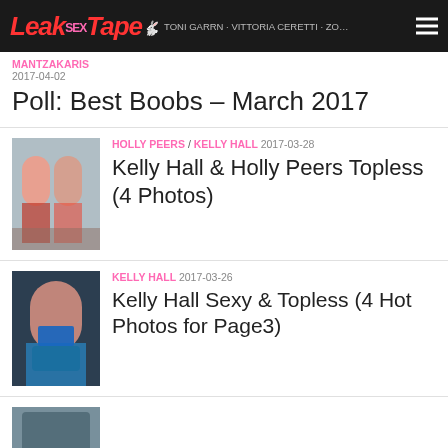LeakSexTape — TONI GARRN · VITTORIA CERETTI · ZO… MANTZAKARIS
2017-04-02
Poll: Best Boobs – March 2017
[Figure (photo): Two women in lingerie posing together]
HOLLY PEERS / KELLY HALL  2017-03-28
Kelly Hall & Holly Peers Topless (4 Photos)
[Figure (photo): Woman in blue lingerie posing]
KELLY HALL  2017-03-26
Kelly Hall Sexy & Topless (4 Hot Photos for Page3)
[Figure (photo): Partial thumbnail of another post at bottom]